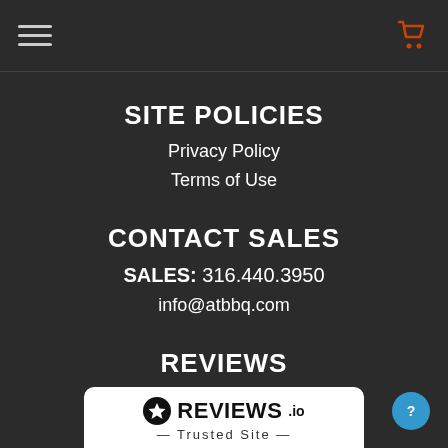Navigation bar with hamburger menu and cart icon
SITE POLICIES
Privacy Policy
Terms of Use
CONTACT SALES
SALES: 316.440.3950
info@atbbq.com
REVIEWS
Leave/Read Reviews
[Figure (logo): REVIEWS.io Trusted Site badge with star icon]